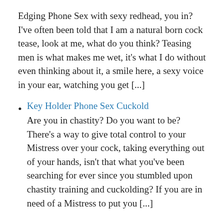Edging Phone Sex with sexy redhead, you in? I've often been told that I am a natural born cock tease, look at me, what do you think? Teasing men is what makes me wet, it's what I do without even thinking about it, a smile here, a sexy voice in your ear, watching you get [...]
Key Holder Phone Sex Cuckold
Are you in chastity? Do you want to be? There's a way to give total control to your Mistress over your cock, taking everything out of your hands, isn't that what you've been searching for ever since you stumbled upon chastity training and cuckolding? If you are in need of a Mistress to put you [...]